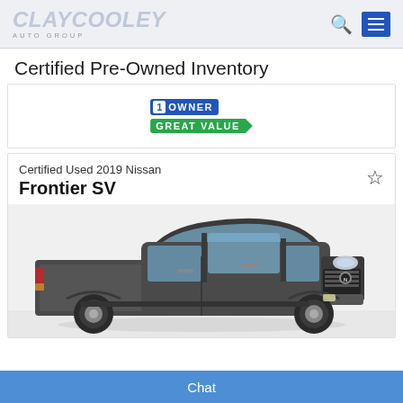Clay Cooley Auto Group
Certified Pre-Owned Inventory
[Figure (infographic): 1 Owner badge in blue and Great Value badge in green with arrow shape]
Certified Used 2019 Nissan
Frontier SV
[Figure (photo): Photo of a dark grey 2019 Nissan Frontier SV pickup truck on white background]
Chat